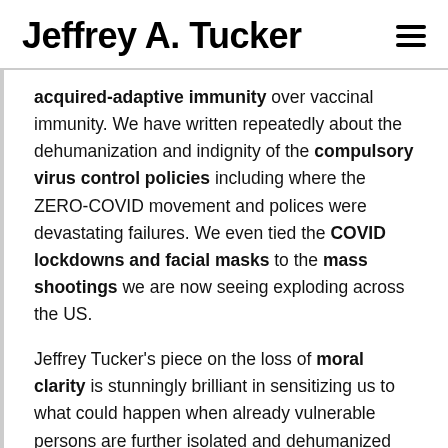Jeffrey A. Tucker
acquired-adaptive immunity over vaccinal immunity. We have written repeatedly about the dehumanization and indignity of the compulsory virus control policies including where the ZERO-COVID movement and polices were devastating failures. We even tied the COVID lockdowns and facial masks to the mass shootings we are now seeing exploding across the US.
Jeffrey Tucker's piece on the loss of moral clarity is stunningly brilliant in sensitizing us to what could happen when already vulnerable persons are further isolated and dehumanized and all decision-making ripped from them, as was done to us